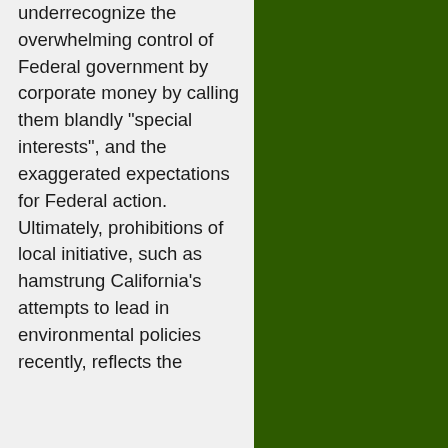underrecognize the overwhelming control of Federal government by corporate money by calling them blandly "special interests", and the exaggerated expectations for Federal action. Ultimately, prohibitions of local initiative, such as hamstrung California's attempts to lead in environmental policies recently, reflects the